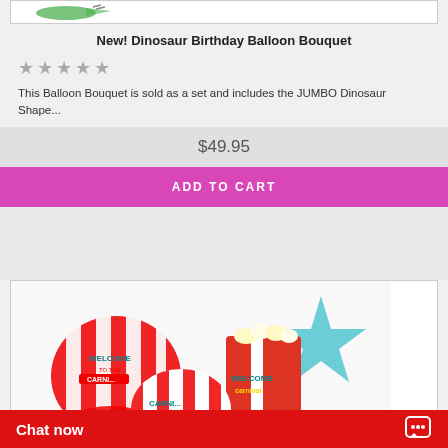[Figure (photo): Partial view of a green dinosaur-shaped balloon at top of page]
New! Dinosaur Birthday Balloon Bouquet
★★★★★
This Balloon Bouquet is sold as a set and includes the JUMBO Dinosaur Shape...
$49.95
ADD TO CART
[Figure (photo): Carnival-themed balloon bouquet with red and white striped balloons, popcorn balloons, and a light blue star balloon. Text on balloons reads 'WELCOME TO THE CARNIVAL']
Chat now